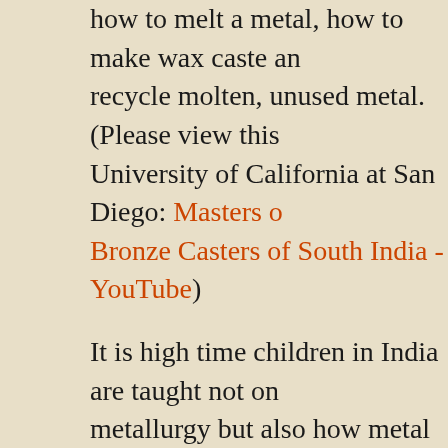how to melt a metal, how to make wax caste and recycle molten, unused metal. (Please view this University of California at San Diego: Masters of Bronze Casters of South India - YouTube)
It is high time children in India are taught not only metallurgy but also how metal objects were made before metallurgy developed into a science. It is teach classics in Tamizh and other languages to memorize but also to learn historical facts. For the teacher talks about the description of foreign Kaveripoompatttinam in Silappadikaram, why not trade with the Roman empire and about sea travel based on Arikamedu excavations and other sources.
Here is a section from the Tamizh classic, Manimai...